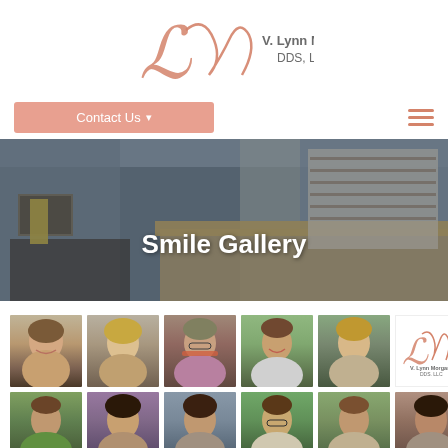[Figure (logo): V. Lynn Morgan DDS, LLC script logo with salmon/rose colored cursive LM monogram and gray text]
Contact Us ▾
[Figure (photo): Dental office reception area interior with desk, shelving, and waiting area. Text overlay reads 'Smile Gallery']
[Figure (photo): Grid of patient smile before/after or portrait photos - row 1: 5 patient headshots plus mini V. Lynn Morgan logo]
[Figure (photo): Grid of patient portraits - row 2 partial: 6 patient headshots]